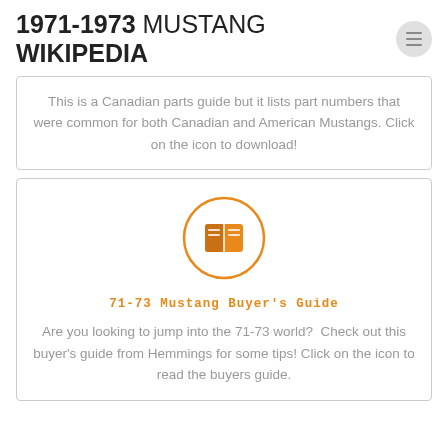1971-1973 MUSTANG WIKIPEDIA
This is a Canadian parts guide but it lists part numbers that were common for both Canadian and American Mustangs. Click on the icon to download!
[Figure (illustration): Orange circle with a book icon inside, representing a downloadable guide]
71-73 Mustang Buyer's Guide
Are you looking to jump into the 71-73 world?  Check out this buyer's guide from Hemmings for some tips! Click on the icon to read the buyers guide.